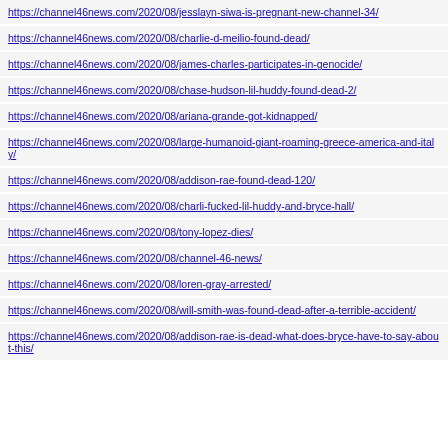https://channel46news.com/2020/08/jesslayn-siwa-is-pregnant-new-channel-34/
https://channel46news.com/2020/08/charlie-d-meilio-found-dead/
https://channel46news.com/2020/08/james-charles-participates-in-genocide/
https://channel46news.com/2020/08/chase-hudson-lil-huddy-found-dead-2/
https://channel46news.com/2020/08/ariana-grande-got-kidnapped/
https://channel46news.com/2020/08/large-humanoid-giant-roaming-greece-america-and-italy/
https://channel46news.com/2020/08/addison-rae-found-dead-120/
https://channel46news.com/2020/08/charli-fucked-lil-huddy-and-bryce-hall/
https://channel46news.com/2020/08/tony-lopez-dies/
https://channel46news.com/2020/08/channel-46-news/
https://channel46news.com/2020/08/loren-gray-arrested/
https://channel46news.com/2020/08/will-smith-was-found-dead-after-a-terrible-accident/
https://channel46news.com/2020/08/addison-rae-is-dead-what-does-bryce-have-to-say-about-this/